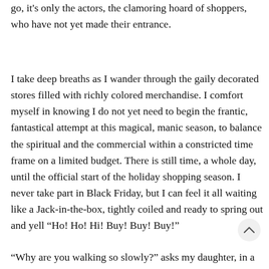go, it's only the actors, the clamoring hoard of shoppers, who have not yet made their entrance.
I take deep breaths as I wander through the gaily decorated stores filled with richly colored merchandise. I comfort myself in knowing I do not yet need to begin the frantic, fantastical attempt at this magical, manic season, to balance the spiritual and the commercial within a constricted time frame on a limited budget. There is still time, a whole day, until the official start of the holiday shopping season. I never take part in Black Friday, but I can feel it all waiting like a Jack-in-the-box, tightly coiled and ready to spring out and yell “Ho! Ho! Hi! Buy! Buy! Buy!”
“Why are you walking so slowly?” asks my daughter, in a